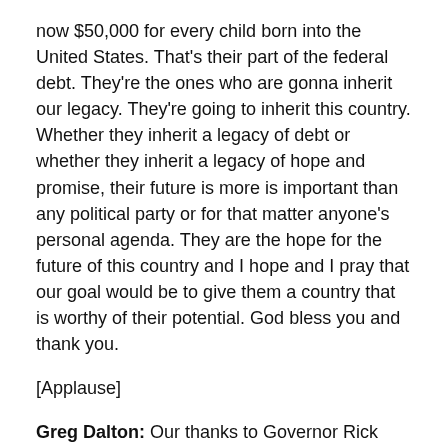now $50,000 for every child born into the United States. That's their part of the federal debt. They're the ones who are gonna inherit our legacy. They're going to inherit this country. Whether they inherit a legacy of debt or whether they inherit a legacy of hope and promise, their future is more is important than any political party or for that matter anyone's personal agenda. They are the hope for the future of this country and I hope and I pray that our goal would be to give them a country that is worthy of their potential. God bless you and thank you.
[Applause]
Greg Dalton: Our thanks to Governor Rick Perry of Texas for his comments here today at the Commonwealth Club. I'm Greg Dalton and we have a lot of questions about energy and a lot of other issues, but first there's a power question on people's minds, people would like to hear your reaction to Eric Cantor's loss in the recent primary